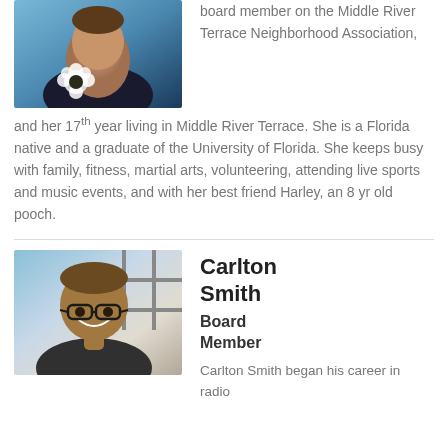[Figure (photo): Portrait photo of a woman wearing a dark floral top, partial view at top of page]
board member on the Middle River Terrace Neighborhood Association, and her 17th year living in Middle River Terrace. She is a Florida native and a graduate of the University of Florida. She keeps busy with family, fitness, martial arts, volunteering, attending live sports and music events, and with her best friend Harley, an 8 yr old pooch.
[Figure (photo): Portrait photo of Carlton Smith, a smiling man wearing glasses]
Carlton Smith
Board Member
Carlton Smith began his career in radio